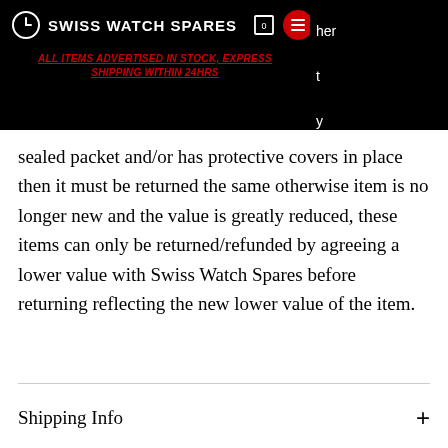SWISS WATCH SPARES
ALL ITEMS ADVERTISED IN STOCK, EXPRESS SHIPPING WITHIN 24HRS
sealed packet and/or has protective covers in place then it must be returned the same otherwise item is no longer new and the value is greatly reduced, these items can only be returned/refunded by agreeing a lower value with Swiss Watch Spares before returning reflecting the new lower value of the item.
Shipping Info